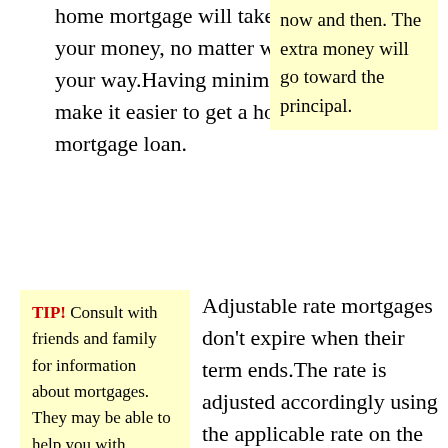home mortgage will take a chunk of your money, no matter what comes your way.Having minimal debt will make it easier to get a home mortgage loan.
now and then. The extra money will go toward the principal.
TIP! Consult with friends and family for information about mortgages. They may be able to help you with information about what to look for.
Adjustable rate mortgages don't expire when their term ends.The rate is adjusted accordingly using the applicable rate on the application you gave. This means the mortgage could result in a much higher interest rate.